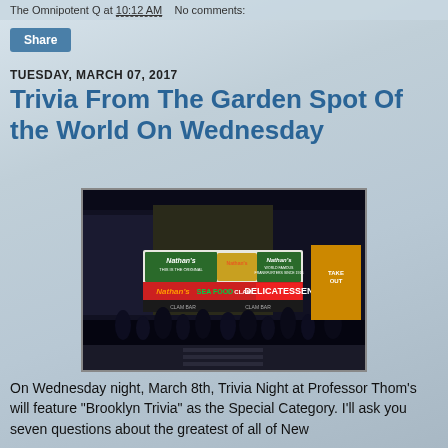The Omnipotent Q at 10:12 AM   No comments:
Share
TUESDAY, MARCH 07, 2017
Trivia From The Garden Spot Of the World On Wednesday
[Figure (photo): Night photo of Nathan's Famous restaurant in Brooklyn/Coney Island area, showing illuminated signs including Nathan's World Famous Frankfurters Since 1916, Sea Food, Clam Bar, Delicatessen signs, with crowds of people on the street]
On Wednesday night, March 8th, Trivia Night at Professor Thom's will feature "Brooklyn Trivia" as the Special Category. I'll ask you seven questions about the greatest of all of New